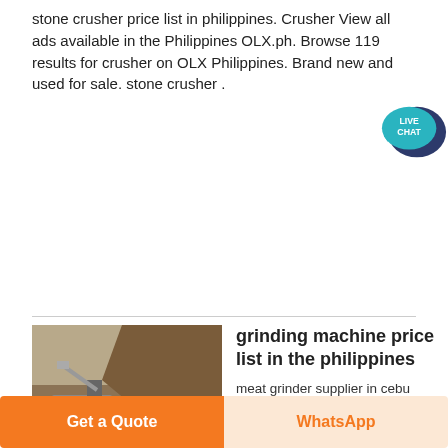stone crusher price list in philippines. Crusher View all ads available in the Philippines OLX.ph. Browse 119 results for crusher on OLX Philippines. Brand new and used for sale. stone crusher .
[Figure (other): Live Chat speech bubble icon with teal/dark blue color and 'LIVE CHAT' text]
Get Price
[Figure (photo): Mining quarry scene with stone crushing equipment and machinery on site, with ACRUSHER Mining Equipment logo overlay]
grinding machine price list in the philippines
meat grinder supplier in cebu philippines
Get a Quote
WhatsApp